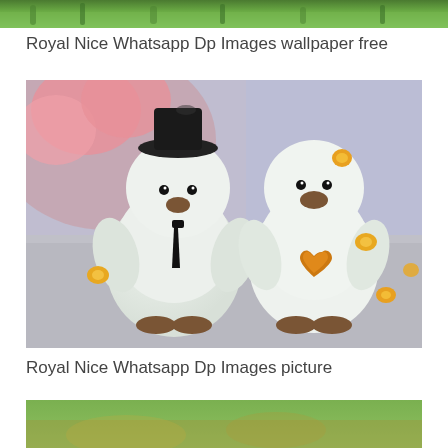[Figure (photo): Top portion of an image, showing green grass or foliage at the top of the page, cropped.]
Royal Nice Whatsapp Dp Images wallpaper free
[Figure (photo): Two cute clay or polymer figurines resembling penguins/birds on a grey surface. The left one wears a black top hat and has a black tie. The right one has an orange gem heart on its chest. Pink flowers and orange gem decorations are in the background.]
Royal Nice Whatsapp Dp Images picture
[Figure (photo): Bottom portion of a photo showing green and brown blurred background, partially cropped at the bottom of the page.]